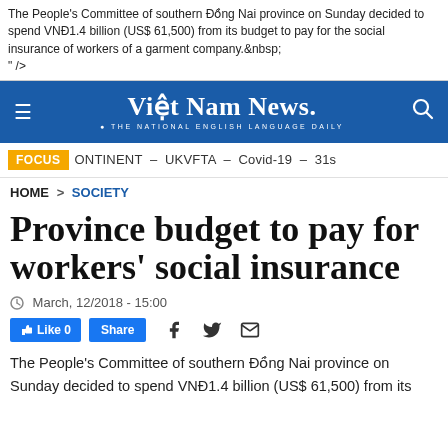The People’s Committee of southern Đồng Nai province on Sunday decided to spend VNĐ1.4 billion (US$ 61,500) from its budget to pay for the social insurance of workers of a garment company. 
" />
Việt Nam News. THE NATIONAL ENGLISH LANGUAGE DAILY
FOCUS  ONTINENT – UKVFTA – Covid-19 – 31s
HOME > SOCIETY
Province budget to pay for workers’ social insurance
March, 12/2018 - 15:00
Like 0  Share
The People’s Committee of southern Đồng Nai province on Sunday decided to spend VNĐ1.4 billion (US$ 61,500) from its